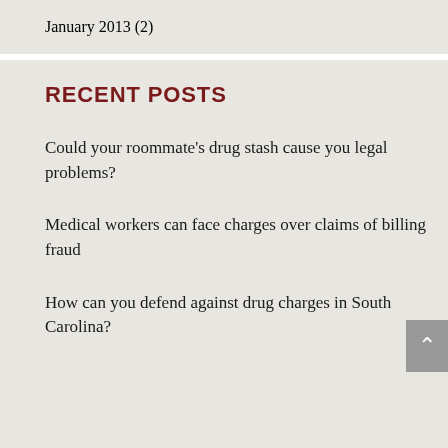January 2013 (2)
RECENT POSTS
Could your roommate's drug stash cause you legal problems?
Medical workers can face charges over claims of billing fraud
How can you defend against drug charges in South Carolina?